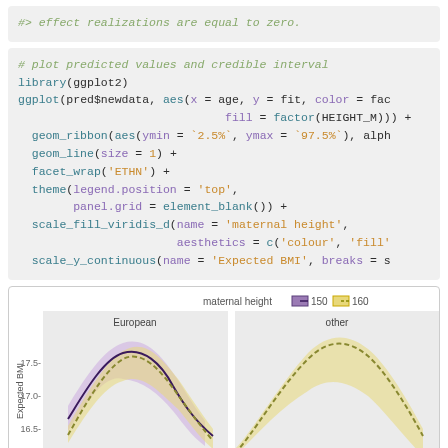#> effect realizations are equal to zero.
# plot predicted values and credible interval
library(ggplot2)
ggplot(pred$newdata, aes(x = age, y = fit, color = fac
                        fill = factor(HEIGHT_M))) +
  geom_ribbon(aes(ymin = `2.5%`, ymax = `97.5%`), alph
  geom_line(size = 1) +
  facet_wrap('ETHN') +
  theme(legend.position = 'top',
        panel.grid = element_blank()) +
  scale_fill_viridis_d(name = 'maternal height',
                       aesthetics = c('colour', 'fill'
  scale_y_continuous(name = 'Expected BMI', breaks = s
[Figure (continuous-plot): A ggplot2 line chart showing Expected BMI by age for two ethnicity groups (European and other) with two maternal height conditions (150 and 160), shown with credible interval ribbons in purple and yellow/gold colors. Legend at top shows 'maternal height' with values 150 and 160.]